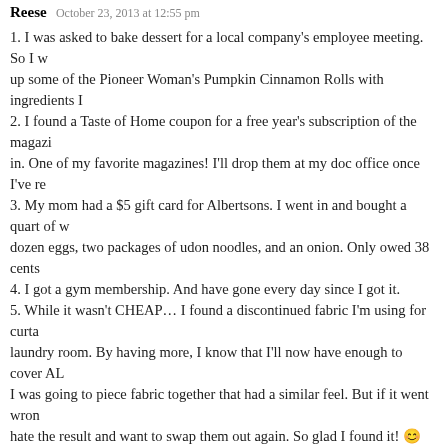Reese  October 23, 2013 at 12:55 pm
1. I was asked to bake dessert for a local company's employee meeting. So I w… up some of the Pioneer Woman's Pumpkin Cinnamon Rolls with ingredients I…
2. I found a Taste of Home coupon for a free year's subscription of the magazi… in. One of my favorite magazines! I'll drop them at my doc office once I've re…
3. My mom had a $5 gift card for Albertsons. I went in and bought a quart of w… dozen eggs, two packages of udon noodles, and an onion. Only owed 38 cents…
4. I got a gym membership. And have gone every day since I got it.
5. While it wasn't CHEAP… I found a discontinued fabric I'm using for curta… laundry room. By having more, I know that I'll now have enough to cover AL… I was going to piece fabric together that had a similar feel. But if it went wron… hate the result and want to swap them out again. So glad I found it! 😊
REPLY
Katy  October 23, 2013 at 1:13 pm
All great stuff! And pumpkin cinnamon rolls?! No wonder you have to go… gym every day! 🙂
Katy